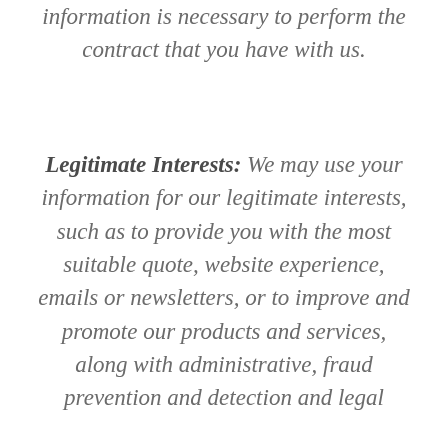information is necessary to perform the contract that you have with us.
Legitimate Interests: We may use your information for our legitimate interests, such as to provide you with the most suitable quote, website experience, emails or newsletters, or to improve and promote our products and services, along with administrative, fraud prevention and detection and legal